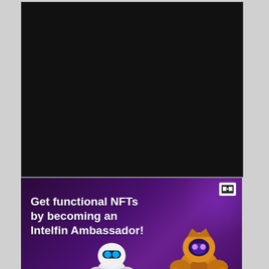[Figure (other): Black/dark rectangle occupying the top portion of the visible page area]
[Figure (illustration): Advertisement banner with dark purple gradient background. Text reads 'Get functional NFTs by becoming an Intelfin Ambassador!' with two robot/character illustrations at the bottom and a small logo badge in the top-right corner.]